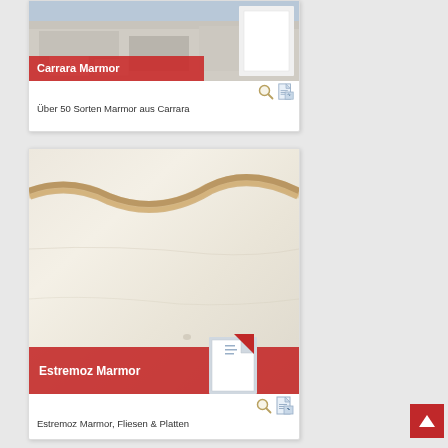[Figure (photo): Carrara marble quarry photo with red banner overlay reading 'Carrara Marmor' and a document icon]
Über 50 Sorten Marmor aus Carrara
[Figure (photo): Close-up photo of Estremoz marble texture with white/cream stone and brown veining, red banner overlay reading 'Estremoz Marmor' with document icon]
Estremoz Marmor, Fliesen & Platten